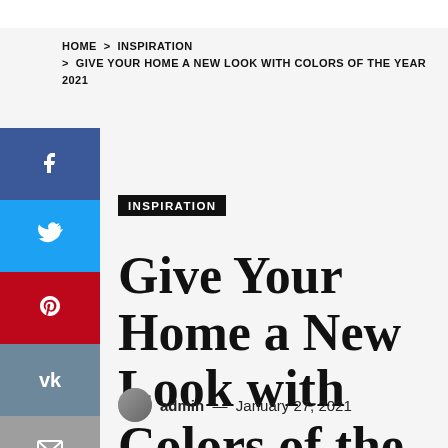HOME > INSPIRATION > GIVE YOUR HOME A NEW LOOK WITH COLORS OF THE YEAR 2021
INSPIRATION
Give Your Home a New Look with Colors of the Year 2021
admin — January 27, 2021